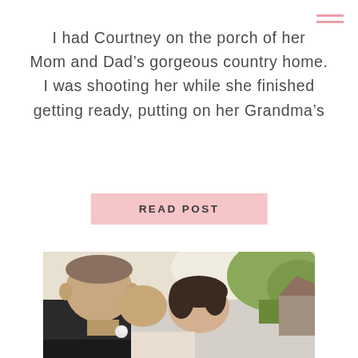I had Courtney on the porch of her Mom and Dad's gorgeous country home. I was shooting her while she finished getting ready, putting on her Grandma's
READ POST
[Figure (photo): Wedding couple kissing outdoors, groom in dark suit, bride with dark hair, autumn foliage in background]